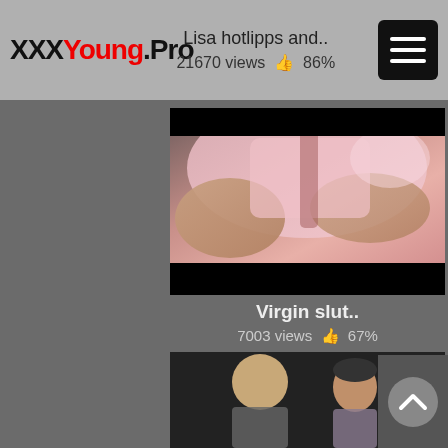XXXYoung.Pro — Lisa hotlipps and.. 21670 views 86%
[Figure (photo): Video thumbnail showing close-up scene with pink clothing and hands, with DF watermark in bottom right corner]
Virgin slut..
7003 views 👍 67%
[Figure (photo): Partial video thumbnail showing a bald man and a woman, partially obscured by scroll-to-top button]